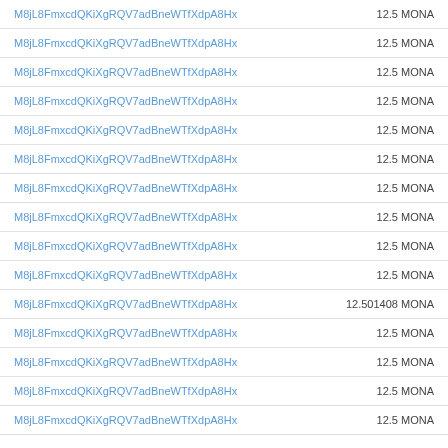| M8jL8FmxcdQKiXgRQV7adBneWTfXdpA8Hx | 12.5 MONA |
| M8jL8FmxcdQKiXgRQV7adBneWTfXdpA8Hx | 12.5 MONA |
| M8jL8FmxcdQKiXgRQV7adBneWTfXdpA8Hx | 12.5 MONA |
| M8jL8FmxcdQKiXgRQV7adBneWTfXdpA8Hx | 12.5 MONA |
| M8jL8FmxcdQKiXgRQV7adBneWTfXdpA8Hx | 12.5 MONA |
| M8jL8FmxcdQKiXgRQV7adBneWTfXdpA8Hx | 12.5 MONA |
| M8jL8FmxcdQKiXgRQV7adBneWTfXdpA8Hx | 12.5 MONA |
| M8jL8FmxcdQKiXgRQV7adBneWTfXdpA8Hx | 12.5 MONA |
| M8jL8FmxcdQKiXgRQV7adBneWTfXdpA8Hx | 12.5 MONA |
| M8jL8FmxcdQKiXgRQV7adBneWTfXdpA8Hx | 12.5 MONA |
| M8jL8FmxcdQKiXgRQV7adBneWTfXdpA8Hx | 12.501408 MONA |
| M8jL8FmxcdQKiXgRQV7adBneWTfXdpA8Hx | 12.5 MONA |
| M8jL8FmxcdQKiXgRQV7adBneWTfXdpA8Hx | 12.5 MONA |
| M8jL8FmxcdQKiXgRQV7adBneWTfXdpA8Hx | 12.5 MONA |
| M8jL8FmxcdQKiXgRQV7adBneWTfXdpA8Hx | 12.5 MONA |